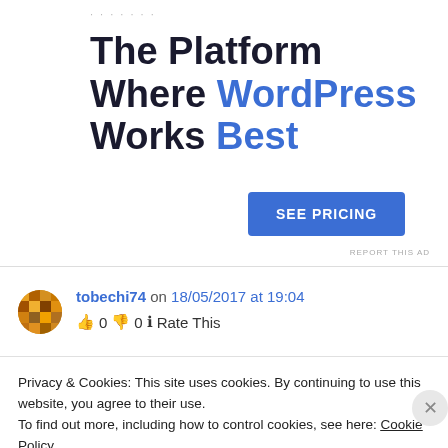[Figure (other): Decorative dots/ellipsis at top of advertisement]
The Platform Where WordPress Works Best
[Figure (other): SEE PRICING button (blue rectangle)]
REPORT THIS AD
[Figure (other): User avatar — mosaic/geometric circle icon for tobechi74]
tobechi74 on 18/05/2017 at 19:04
👍 0 👎 0 ℹ Rate This
Privacy & Cookies: This site uses cookies. By continuing to use this website, you agree to their use.
To find out more, including how to control cookies, see here: Cookie Policy
Close and accept